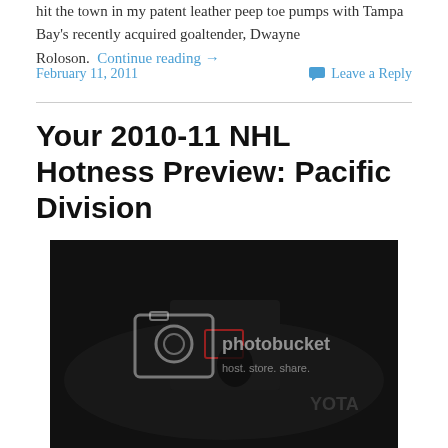hit the town in my patent leather peep toe pumps with Tampa Bay's recently acquired goaltender, Dwayne Roloson.  Continue reading →
February 11, 2011    Leave a Reply
Your 2010-11 NHL Hotness Preview: Pacific Division
[Figure (photo): Dark hockey rink photo with Photobucket watermark overlay showing camera icon and 'photobucket host. store. share.' text, with partial Toyota advertisement visible in background]